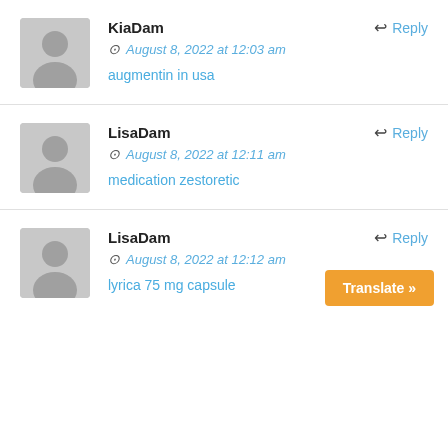KiaDam
August 8, 2022 at 12:03 am
augmentin in usa
LisaDam
August 8, 2022 at 12:11 am
medication zestoretic
LisaDam
August 8, 2022 at 12:12 am
lyrica 75 mg capsule